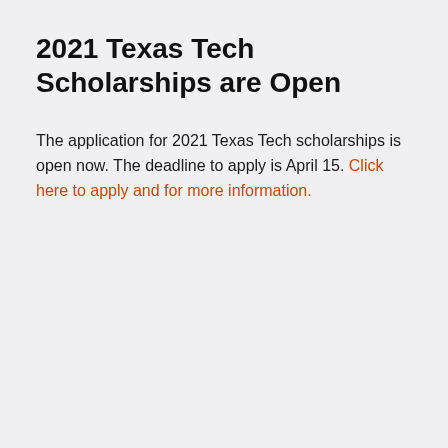2021 Texas Tech Scholarships are Open
The application for 2021 Texas Tech scholarships is open now. The deadline to apply is April 15. Click here to apply and for more information.